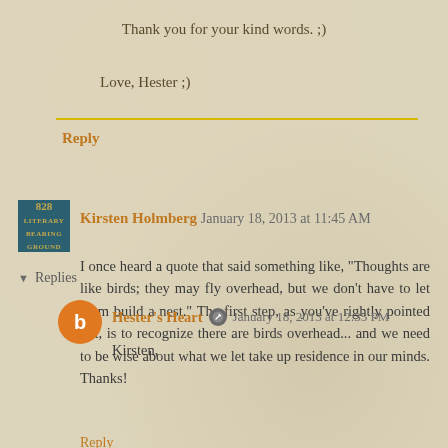Thank you for your kind words. ;)
Love, Hester ;)
Reply
Kirsten Holmberg  January 18, 2013 at 11:45 AM
I once heard a quote that said something like, "Thoughts are like birds; they may fly overhead, but we don't have to let them build a nest." The first step, as you've rightly pointed out, is to recognize there are birds overhead... and we need to be wise about what we let take up residence in our minds. Thanks!
Reply
▾  Replies
Hester's Heart  January 18, 2013 at 12:35 PM
Kirsten,